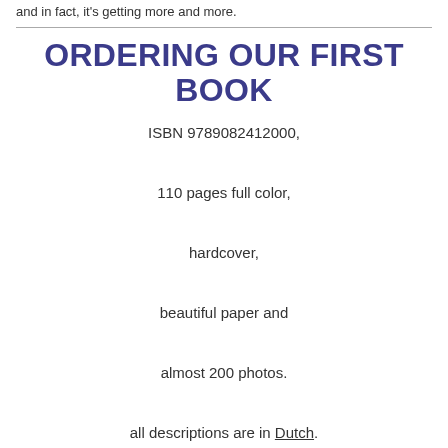and in fact, it's getting more and more.
ORDERING OUR FIRST BOOK
ISBN 9789082412000,
110 pages full color,
hardcover,
beautiful paper and
almost 200 photos.
all descriptions are in Dutch.
The price is € 29.95 (incl. VAT). Shipping costs inside the tiny Kingdom of the Netherlands are € 5,=. You can order the book through our contact form or by sending us an email info@kroon-en-vanmaanen.nl. After receiving the